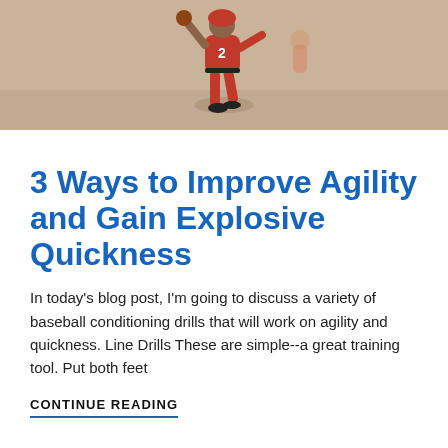[Figure (photo): Baseball player in red uniform running on a dirt field]
3 Ways to Improve Agility and Gain Explosive Quickness
In today's blog post, I'm going to discuss a variety of baseball conditioning drills that will work on agility and quickness. Line Drills These are simple--a great training tool. Put both feet
CONTINUE READING
[Figure (photo): Baseball player pitching on a field with green background]